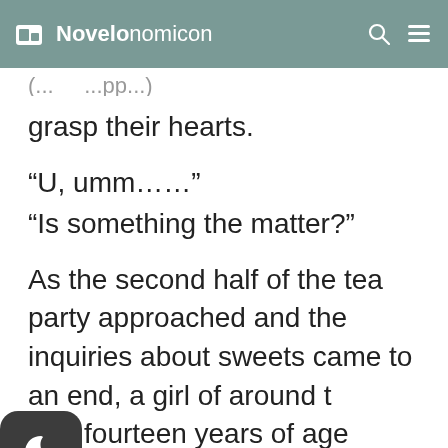Novelonomicon
grasp their hearts.
“U, umm……”
“Is something the matter?”
As the second half of the tea party approached and the inquiries about sweets came to an end, a girl of around thirteen or fourteen years of age called out to me.